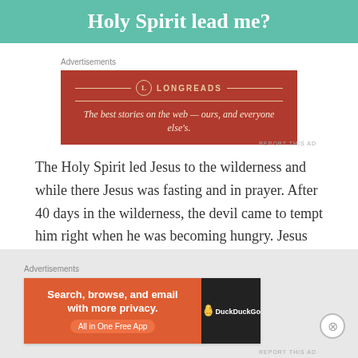Holy Spirit lead me?
[Figure (screenshot): Longreads advertisement banner on dark red background: 'The best stories on the web — ours, and everyone else's.']
The Holy Spirit led Jesus to the wilderness and while there Jesus was fasting and in prayer. After 40 days in the wilderness, the devil came to tempt him right when he was becoming hungry. Jesus was able to overcome all the temptation because of the relationship he had with the father. It is the same way with us, if we want the Holy Spirit
[Figure (screenshot): DuckDuckGo advertisement: 'Search, browse, and email with more privacy. All in One Free App' with DuckDuckGo duck logo on dark background.]